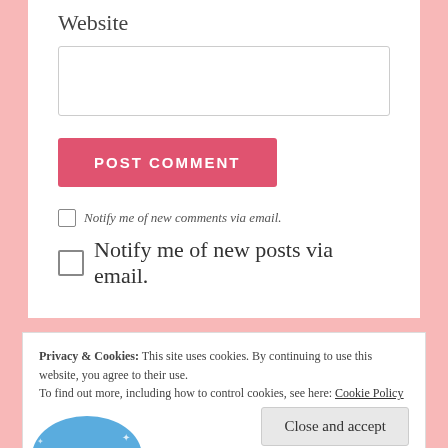Website
Notify me of new comments via email.
Notify me of new posts via email.
Privacy & Cookies: This site uses cookies. By continuing to use this website, you agree to their use.
To find out more, including how to control cookies, see here: Cookie Policy
Close and accept
[Figure (illustration): Partial blue bird/twitter-like logo with stars, partially visible at bottom of page]